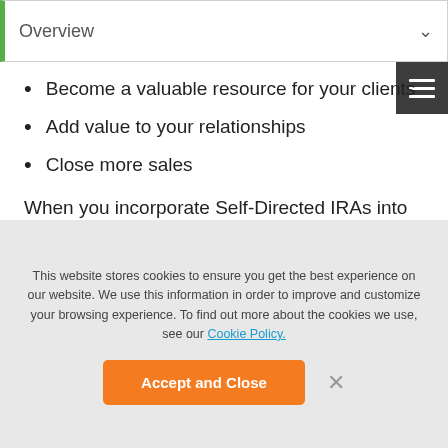Overview
Become a valuable resource for your clients
Add value to your relationships
Close more sales
When you incorporate Self-Directed IRAs into your sales strategy, you can become an even more knowledgeable resource for clients who already trust you.
Who else would they choose to represent them in buying
This website stores cookies to ensure you get the best experience on our website. We use this information in order to improve and customize your browsing experience. To find out more about the cookies we use, see our Cookie Policy.